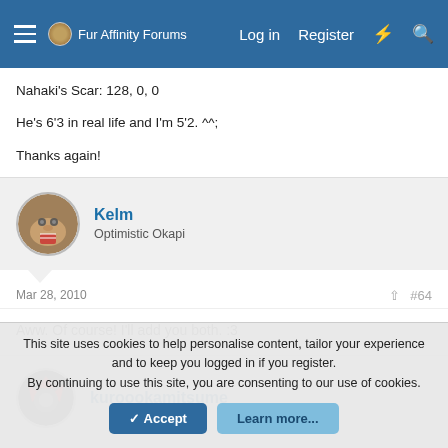Fur Affinity Forums — Log in   Register
Nahaki's Scar: 128, 0, 0

He's 6'3 in real life and I'm 5'2. ^^;

Thanks again!
Kelm
Optimistic Okapi
Mar 28, 2010  #64
Aww. Of course! I'll add you both. :3
kuroookamitsume
This site uses cookies to help personalise content, tailor your experience and to keep you logged in if you register.
By continuing to use this site, you are consenting to our use of cookies.